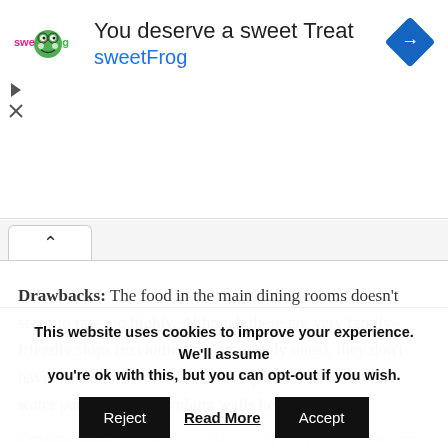[Figure (illustration): sweetFrog advertisement banner: logo on left, headline 'You deserve a sweet Treat', subtitle 'sweetFrog' in blue, blue diamond turn-right navigation icon on right, play and close controls on far left.]
Drawbacks: The food in the main dining rooms doesn't seem to rate too highly. Although these are very family-friendly ships (excluding the adult-only ones), they don't have the same activities as its competitors, there are no water parks or rock climbing walls here.
Destinations: All but one of their ships depart from the UK
This website uses cookies to improve your experience. We'll assume you're ok with this, but you can opt-out if you wish.
Accept
Reject
Read More